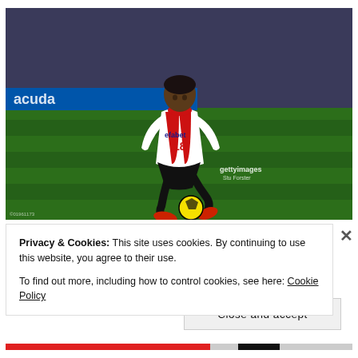[Figure (photo): Football player wearing Sunderland red-and-white striped jersey with 'efabet' sponsor, number 18, dribbling a yellow ball on a green pitch at night. Getty Images watermark visible in bottom right. Crowd in background.]
Privacy & Cookies: This site uses cookies. By continuing to use this website, you agree to their use.
To find out more, including how to control cookies, see here: Cookie Policy
Close and accept